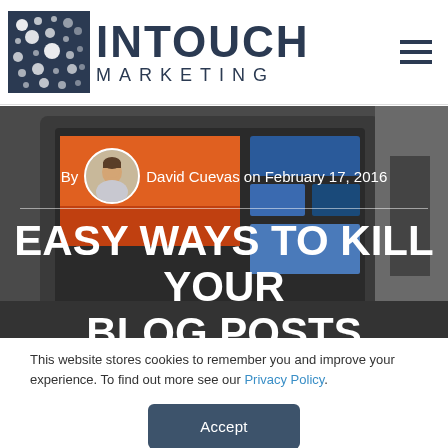InTouch Marketing
[Figure (screenshot): Website screenshot showing InTouch Marketing blog post page with header logo, hero image of laptop, author byline 'By David Cuevas on February 17, 2016', title 'EASY WAYS TO KILL YOUR BLOG POSTS', and a cookie consent overlay with Accept button]
By David Cuevas on February 17, 2016
EASY WAYS TO KILL YOUR BLOG POSTS
This website stores cookies to remember you and improve your experience. To find out more see our Privacy Policy.
Accept